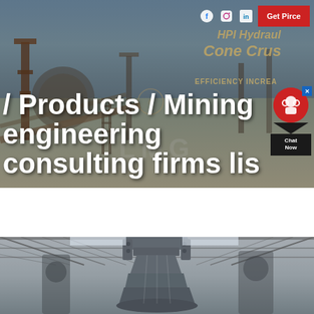[Figure (photo): Industrial mining site with heavy machinery, conveyor belts, and processing equipment against a sky background. Watermark text 'HPI Hydraulic Cone Crus...' and 'EFFICIENCY INCREA...' visible. LMG watermark in center.]
/ Products / Mining engineering consulting firms lis
Get Pirce
[Figure (photo): Indoor factory or warehouse with steel structural elements, showing a large cone crusher or similar industrial equipment component from below, with ceiling trusses visible.]